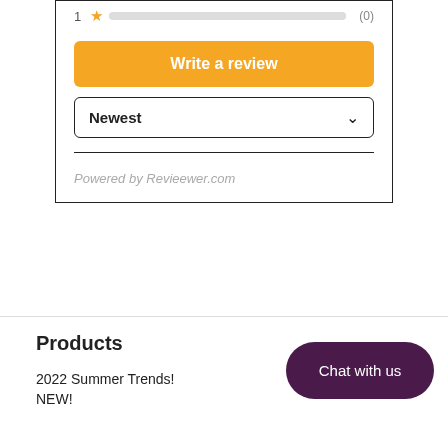[Figure (screenshot): Star rating row showing 1 star with a gray empty progress bar and (0) count]
Write a review
Newest
Powered by Revieewer.com
Products
2022 Summer Trends!
NEW!
Chat with us